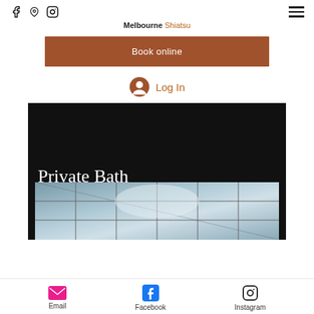Facebook, Location, Instagram icons | Hamburger menu
Melbourne Shiatsu
Book online
Log In
[Figure (photo): Private Bath hero image with black background and tile photo]
Email | Facebook | Instagram